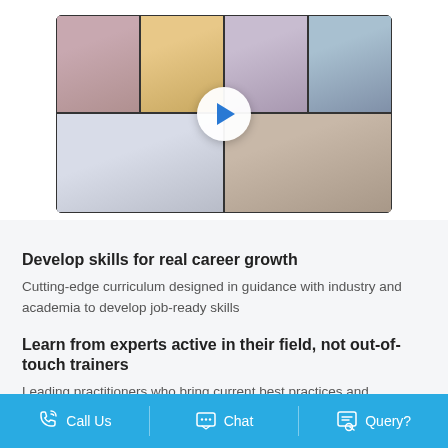[Figure (photo): Video thumbnail showing a grid of diverse people in a video call layout with a play button overlay in the center. Top row has four people, bottom row has one person on right side and a presenter with whiteboard on left.]
Develop skills for real career growth
Cutting-edge curriculum designed in guidance with industry and academia to develop job-ready skills
Learn from experts active in their field, not out-of-touch trainers
Leading practitioners who bring current best practices and
Call Us   Chat   Query?